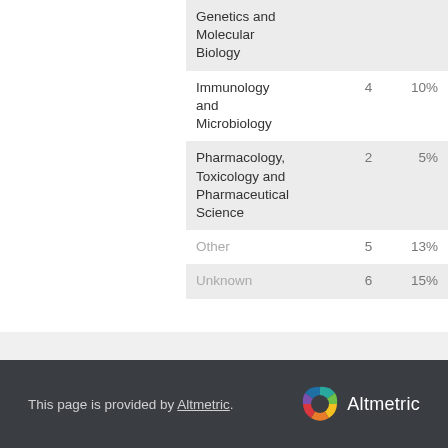| Subject area | Count | Percent |
| --- | --- | --- |
| Genetics and Molecular Biology |  |  |
| Immunology and Microbiology | 4 | 10% |
| Pharmacology, Toxicology and Pharmaceutical Science | 2 | 5% |
| Other | 5 | 13% |
| Unknown | 6 | 15% |
This page is provided by Altmetric.